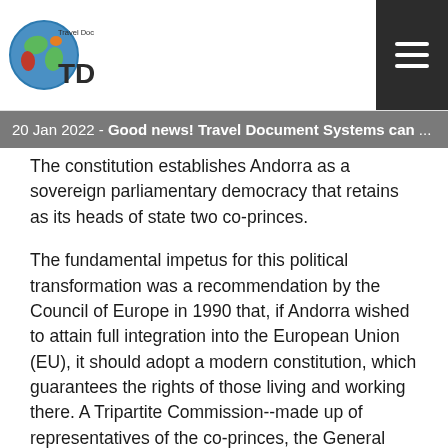Travel Document Systems TDS logo and navigation
20 Jan 2022 - Good news! Travel Document Systems can ...
The constitution establishes Andorra as a sovereign parliamentary democracy that retains as its heads of state two co-princes.
The fundamental impetus for this political transformation was a recommendation by the Council of Europe in 1990 that, if Andorra wished to attain full integration into the European Union (EU), it should adopt a modern constitution, which guarantees the rights of those living and working there. A Tripartite Commission--made up of representatives of the co-princes, the General Council, and the Executive Council--was formed in 1990 and finalized the draft constitution in April 1991.
Under the 1993 constitution, the co-princes continue as heads of state, but the head of government retains executive power. The two co-princes serve co-equally with limited powers that do not include veto over government acts. They are represented...